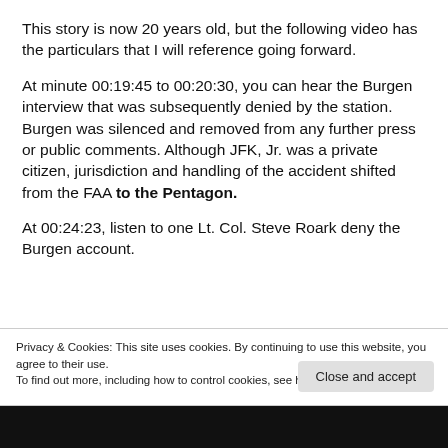This story is now 20 years old, but the following video has the particulars that I will reference going forward.
At minute 00:19:45 to 00:20:30, you can hear the Burgen interview that was subsequently denied by the station. Burgen was silenced and removed from any further press or public comments. Although JFK, Jr. was a private citizen, jurisdiction and handling of the accident shifted from the FAA to the Pentagon.
At 00:24:23, listen to one Lt. Col. Steve Roark deny the Burgen account.
Privacy & Cookies: This site uses cookies. By continuing to use this website, you agree to their use.
To find out more, including how to control cookies, see here: Cookie Policy